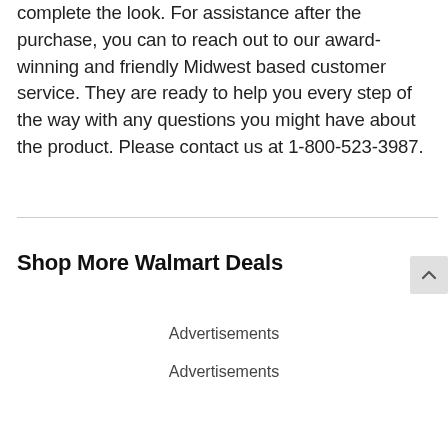complete the look. For assistance after the purchase, you can to reach out to our award-winning and friendly Midwest based customer service. They are ready to help you every step of the way with any questions you might have about the product. Please contact us at 1-800-523-3987.
Shop More Walmart Deals
Advertisements
Advertisements